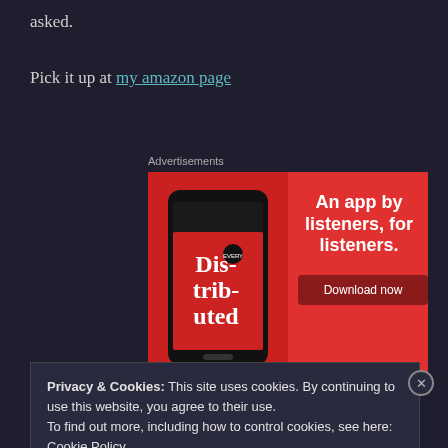asked.
Pick it up at my amazon page
Advertisements
[Figure (illustration): Red advertisement banner for a podcast/music app called 'Distributed'. Shows a smartphone displaying the app with bold serif text 'Dis-trib-uted' on the screen, and text reading 'An app by listeners, for listeners.' with a 'Download now' button.]
Privacy & Cookies: This site uses cookies. By continuing to use this website, you agree to their use.
To find out more, including how to control cookies, see here:
Cookie Policy
Close and accept